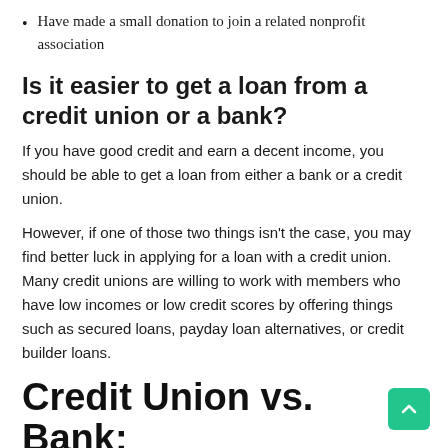Have made a small donation to join a related nonprofit association
Is it easier to get a loan from a credit union or a bank?
If you have good credit and earn a decent income, you should be able to get a loan from either a bank or a credit union.
However, if one of those two things isn't the case, you may find better luck in applying for a loan with a credit union. Many credit unions are willing to work with members who have low incomes or low credit scores by offering things such as secured loans, payday loan alternatives, or credit builder loans.
Credit Union vs. Bank: Which One is Best for